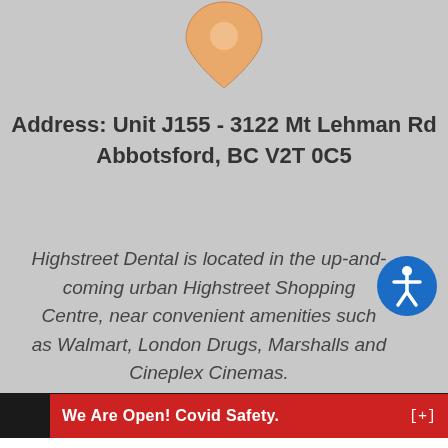[Figure (illustration): Map location pin / drop icon in orange/tan color at top center of page]
Address: Unit J155 - 3122 Mt Lehman Rd Abbotsford, BC V2T 0C5
Highstreet Dental is located in the up-and-coming urban Highstreet Shopping Centre, near convenient amenities such as Walmart, London Drugs, Marshalls and Cineplex Cinemas.
[Figure (illustration): Blue circular accessibility icon with white figure in wheelchair/person symbol]
We Are Open! Covid Safety.